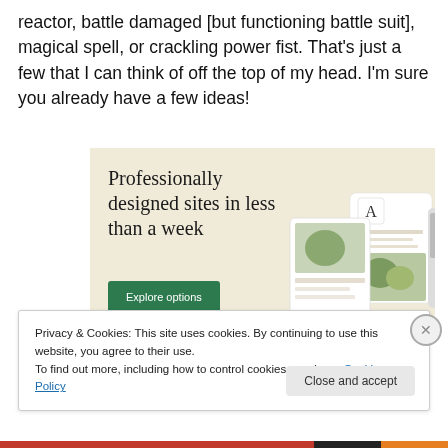reactor, battle damaged [but functioning battle suit], magical spell, or crackling power fist. That's just a few that I can think of off the top of my head. I'm sure you already have a few ideas!
[Figure (illustration): Advertisement banner with beige background showing text 'Professionally designed sites in less than a week' with a green 'Explore options' button and mockup images of websites on the right side.]
Privacy & Cookies: This site uses cookies. By continuing to use this website, you agree to their use.
To find out more, including how to control cookies, see here: Cookie Policy
Close and accept